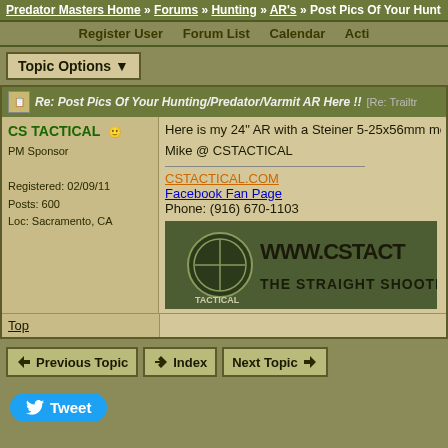Predator Masters Home » Forums » Hunting » AR's » Post Pics Of Your Hunting/Predator/Varmit AR Here !!
Register User   Forum List   Calendar   Activ
Topic Options
Re: Post Pics Of Your Hunting/Predator/Varmit AR Here !!  [Re: Trailtr
CS TACTICAL
PM Sponsor
Registered: 02/09/11
Posts: 600
Loc: Sacramento, CA
Here is my 24" AR with a Steiner 5-25x56mm mou
Mike @ CSTACTICAL
CSTACTICAL.COM
Facebook Fan Page
Phone: (916) 670-1103
[Figure (photo): CS Tactical banner image: WWW.CSTACT... THE STRAIGHT SHOOTER with logo]
Top
Previous Topic   Index   Next Topic
Tweet